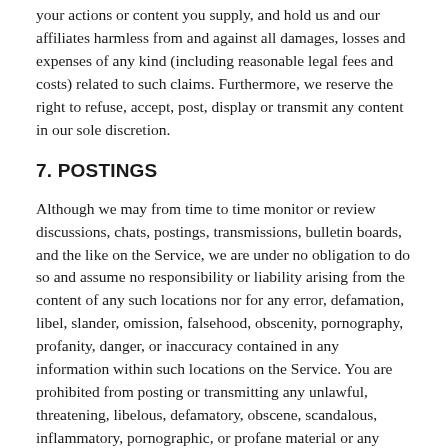your actions or content you supply, and hold us and our affiliates harmless from and against all damages, losses and expenses of any kind (including reasonable legal fees and costs) related to such claims. Furthermore, we reserve the right to refuse, accept, post, display or transmit any content in our sole discretion.
7. POSTINGS
Although we may from time to time monitor or review discussions, chats, postings, transmissions, bulletin boards, and the like on the Service, we are under no obligation to do so and assume no responsibility or liability arising from the content of any such locations nor for any error, defamation, libel, slander, omission, falsehood, obscenity, pornography, profanity, danger, or inaccuracy contained in any information within such locations on the Service. You are prohibited from posting or transmitting any unlawful, threatening, libelous, defamatory, obscene, scandalous, inflammatory, pornographic, or profane material or any material that could constitute or encourage conduct that would be considered